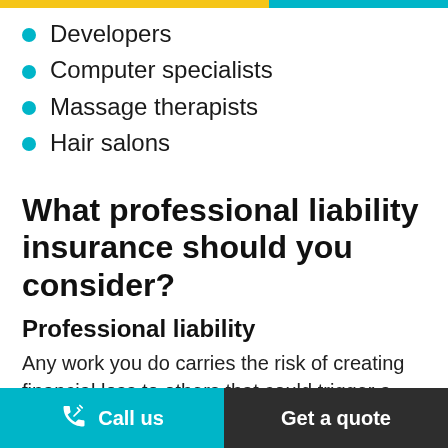Developers
Computer specialists
Massage therapists
Hair salons
What professional liability insurance should you consider?
Professional liability
Any work you do carries the risk of creating financial loss to others that could trigger a costly lawsuit. Professional liability insurance,
Call us | Get a quote